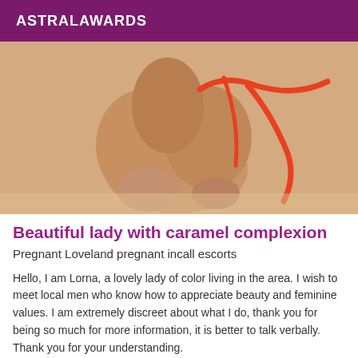ASTRALAWARDS
[Figure (photo): A person in a red swimsuit/bikini in a kneeling pose on a light-colored floor, viewed from behind. Warm skin tones, caramel complexion.]
Beautiful lady with caramel complexion
Pregnant Loveland pregnant incall escorts
Hello, I am Lorna, a lovely lady of color living in the area. I wish to meet local men who know how to appreciate beauty and feminine values. I am extremely discreet about what I do, thank you for being so much for more information, it is better to talk verbally. Thank you for your understanding.